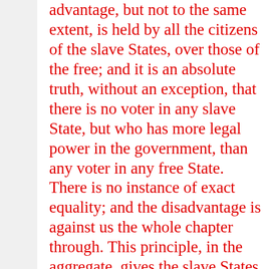advantage, but not to the same extent, is held by all the citizens of the slave States, over those of the free; and it is an absolute truth, without an exception, that there is no voter in any slave State, but who has more legal power in the government, than any voter in any free State. There is no instance of exact equality; and the disadvantage is against us the whole chapter through. This principle, in the aggregate, gives the slave States, in the present Congress, twenty additional representatives—being seven more than the whole majority by which they passed the Nebraska bill.

Now all this is manifestly unfair; yet I do not mention